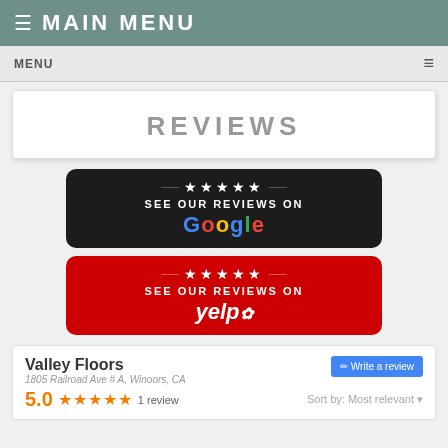≡ MAIN MENU
MENU ≡
REVIEWS
[Figure (other): Black rounded button with stars and text 'SEE OUR REVIEWS ON Google']
[Figure (other): Red rounded button with stars and text 'SEE OUR REVIEWS ON yelp']
[Figure (other): Google reviews widget showing Valley Floors, 1805 Railroad Ave #A, Winoors, CA, 5.0 rating with 5 stars, 1 review, Sort by: Most relevant, Write a review button]